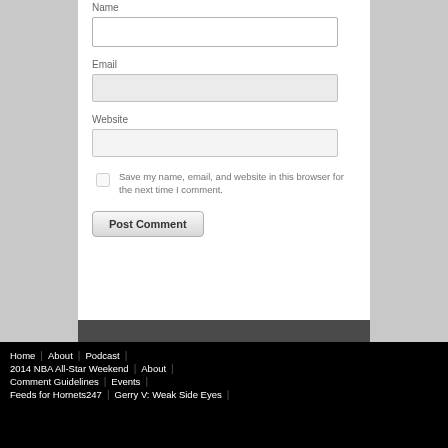Name
[Figure (screenshot): Text input field for Name (white background, bordered)]
Email
[Figure (screenshot): Text input field for Email (light gray background, bordered)]
Website
[Figure (screenshot): Text input field for Website (light gray background, bordered)]
Save my name, email, and website in this browser for the next time I comment.
[Figure (screenshot): Post Comment submit button]
Home | About | Podcast | 2014 NBA All-Star Weekend | About | Comment Guidelines | Events | Feeds for Hornets247 | Gerry V: Weak Side Eyes